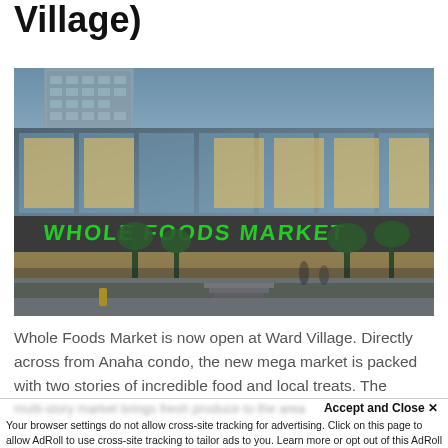Village)
[Figure (photo): Exterior photo of a Whole Foods Market store with green illuminated signage, glass facade, palm trees in front, and a tall residential tower behind it at dusk.]
Whole Foods Market is now open at Ward Village. Directly across from Anaha condo, the new mega market is packed with two stories of incredible food and local treats. The
Accept and Close ✕
Your browser settings do not allow cross-site tracking for advertising. Click on this page to allow AdRoll to use cross-site tracking to tailor ads to you. Learn more or opt out of this AdRoll tracking by clicking here. This message only appears once.